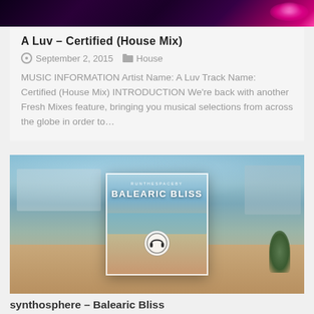[Figure (photo): Dark purple and pink abstract background image strip at top of page]
A Luv – Certified (House Mix)
September 2, 2015   House
MUSIC INFORMATION Artist Name: A Luv Track Name: Certified (House Mix) INTRODUCTION We're back with another Fresh Mixes feature, bringing you musical selections from across the globe in order to…
[Figure (photo): Blurred outdoor poolside terrace background with an overlaid album art card showing 'BALEARIC BLISS' text and a headphones play button icon]
synthosphere – Balearic Bliss